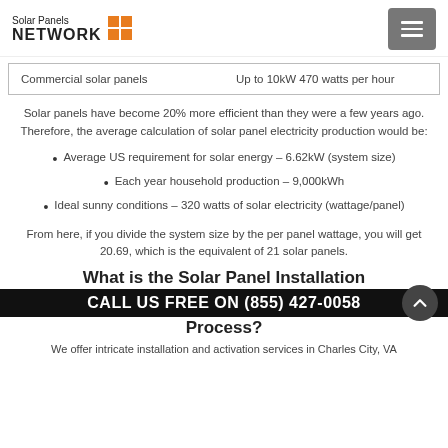Solar Panels NETWORK
| Commercial solar panels | Up to 10kW 470 watts per hour |
| --- | --- |
Solar panels have become 20% more efficient than they were a few years ago. Therefore, the average calculation of solar panel electricity production would be:
Average US requirement for solar energy – 6.62kW (system size)
Each year household production – 9,000kWh
Ideal sunny conditions – 320 watts of solar electricity (wattage/panel)
From here, if you divide the system size by the per panel wattage, you will get 20.69, which is the equivalent of 21 solar panels.
What is the Solar Panel Installation Process?
CALL US FREE ON (855) 427-0058
We offer intricate installation and activation services in Charles City, VA